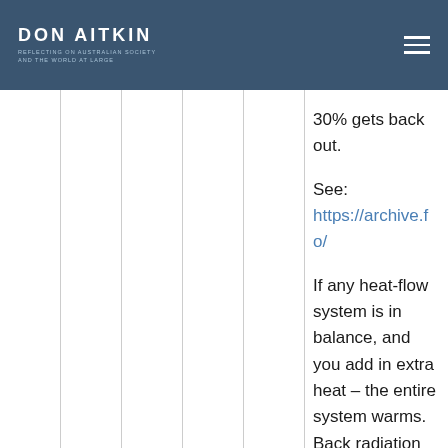DON AITKIN
30% gets back out.
See: https://archive.fo/
If any heat-flow system is in balance, and you add in extra heat – the entire system warms. Back radiation will